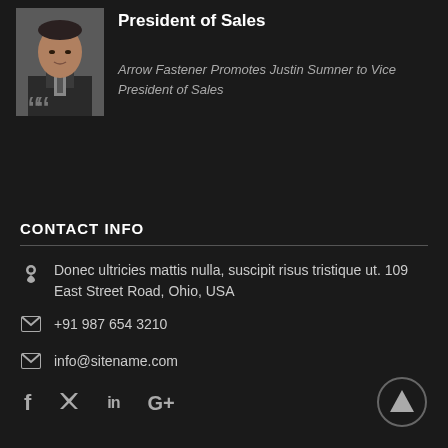Arrow Fastener Promotes Justin Sumner to Vice President of Sales
Arrow Fastener Promotes Justin Sumner to Vice President of Sales
CONTACT INFO
Donec ultricies mattis nulla, suscipit risus tristique ut. 109 East Street Road, Ohio, USA
+91 987 654 3210
info@sitename.com